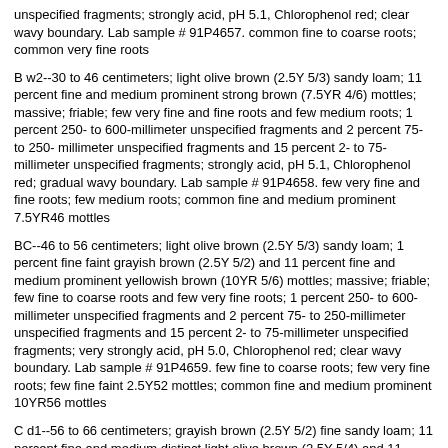unspecified fragments; strongly acid, pH 5.1, Chlorophenol red; clear wavy boundary. Lab sample # 91P4657. common fine to coarse roots; common very fine roots
B w2--30 to 46 centimeters; light olive brown (2.5Y 5/3) sandy loam; 11 percent fine and medium prominent strong brown (7.5YR 4/6) mottles; massive; friable; few very fine and fine roots and few medium roots; 1 percent 250- to 600-millimeter unspecified fragments and 2 percent 75- to 250- millimeter unspecified fragments and 15 percent 2- to 75-millimeter unspecified fragments; strongly acid, pH 5.1, Chlorophenol red; gradual wavy boundary. Lab sample # 91P4658. few very fine and fine roots; few medium roots; common fine and medium prominent 7.5YR46 mottles
BC--46 to 56 centimeters; light olive brown (2.5Y 5/3) sandy loam; 1 percent fine faint grayish brown (2.5Y 5/2) and 11 percent fine and medium prominent yellowish brown (10YR 5/6) mottles; massive; friable; few fine to coarse roots and few very fine roots; 1 percent 250- to 600-millimeter unspecified fragments and 2 percent 75- to 250-millimeter unspecified fragments and 15 percent 2- to 75-millimeter unspecified fragments; very strongly acid, pH 5.0, Chlorophenol red; clear wavy boundary. Lab sample # 91P4659. few fine to coarse roots; few very fine roots; few fine faint 2.5Y52 mottles; common fine and medium prominent 10YR56 mottles
C d1--56 to 66 centimeters; grayish brown (2.5Y 5/2) fine sandy loam; 11 percent fine and medium distinct light olive brown (2.5Y 5/4) and 11 percent fine and medium prominent dark yellowish brown (10YR 4/6) mottles; weak coarse platy structure; firm; brittle; 1 percent 250- to 600-millimeter unspecified fragments and 2 percent 75- to 250-millimeter unspecified fragments and 10 percent 2- to 75-millimeter unspecified fragments; strongly acid, pH 5.1, Chlorophenol red; clear wavy boundary. Lab sample # 91P4660. common fine and medium distinct 2.5Y54 mottles;